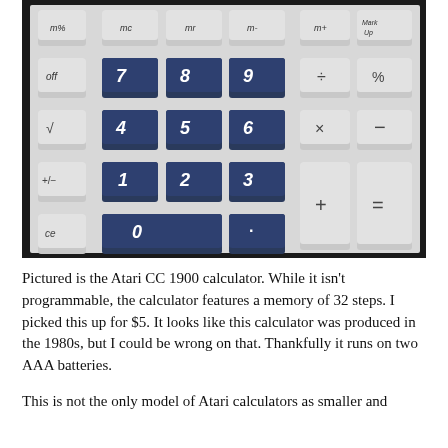[Figure (photo): Close-up photo of an Atari CC 1900 calculator keypad showing grey and dark navy/blue keys arranged in rows. Top row has grey memory keys (m%, mc, mr, m-, m+, Mark Up). Below are rows with grey function keys (off, sqrt, +/-, ce) on the left and dark blue number keys (7,8,9 / 4,5,6 / 1,2,3 / 0 and decimal point). On the right are grey operator keys (divide, %, multiply, minus, plus, equals).]
Pictured is the Atari CC 1900 calculator. While it isn't programmable, the calculator features a memory of 32 steps. I picked this up for $5. It looks like this calculator was produced in the 1980s, but I could be wrong on that. Thankfully it runs on two AAA batteries.
This is not the only model of Atari calculators as smaller and